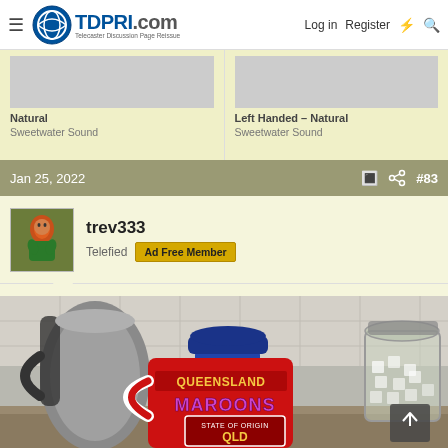TDPRI.com – Telecaster Discussion Page Reissue – Log in  Register
Natural  Sweetwater Sound  |  Left Handed – Natural  Sweetwater Sound
Jan 25, 2022  #83
trev333
Telefied  Ad Free Member
[Figure (photo): Photo of a red Queensland Maroons State of Origin QLD mug on a kitchen counter, with a stainless steel electric kettle in the background and a glass jar to the right.]